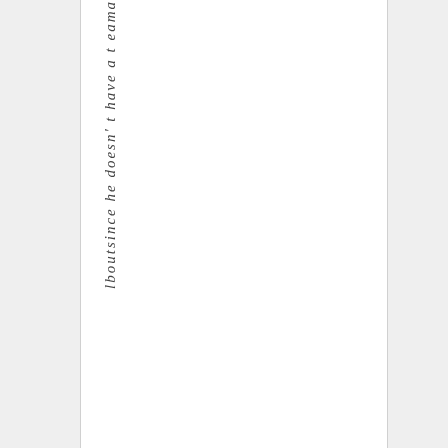l b e o u t s i n c e h e d o e s n ' t h a v e a t e a m a